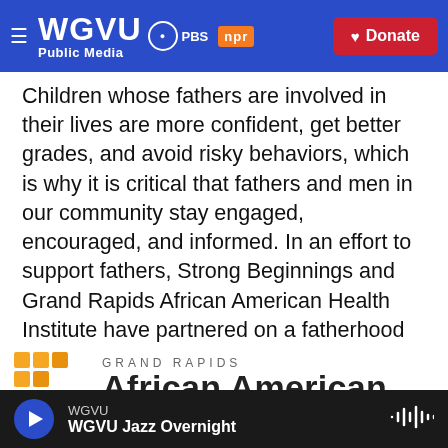WGVU Public Media | PBS | npr | Donate
Children whose fathers are involved in their lives are more confident, get better grades, and avoid risky behaviors, which is why it is critical that fathers and men in our community stay engaged, encouraged, and informed. In an effort to support fathers, Strong Beginnings and Grand Rapids African American Health Institute have partnered on a fatherhood initiative that seeks to strengthen families by encouraging fathers to play an active role in nurturing and raising their children.
[Figure (logo): Grand Rapids African American Health Institute logo — orange/yellow building blocks icon on the left, 'GRAND RAPIDS' in small spaced caps above 'African American' in large bold text]
WGVU — WGVU Jazz Overnight (audio player bar)